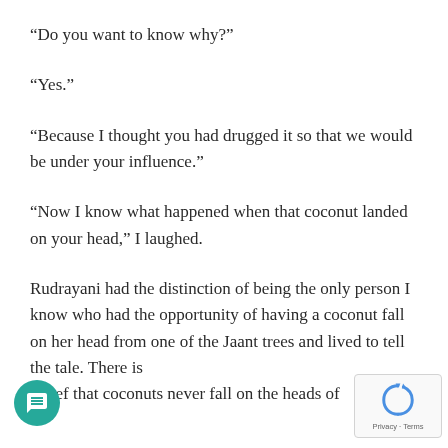“Do you want to know why?”
“Yes.”
“Because I thought you had drugged it so that we would be under your influence.”
“Now I know what happened when that coconut landed on your head,” I laughed.
Rudrayani had the distinction of being the only person I know who had the opportunity of having a coconut fall on her head from one of the Ja…ant trees and lived to tell the tale. There is… belief that coconuts never fall on the heads of…